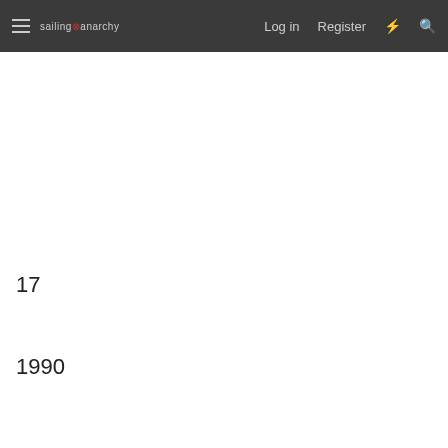sailing anarchy  Log in  Register
17
1990
SC